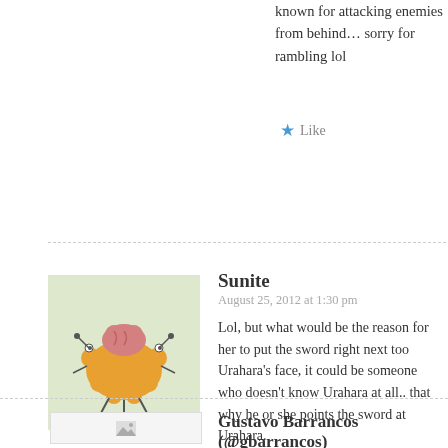known for attacking enemies from behind... sorry for rambling lol
Like
Sunite
August 25, 2012 at 1:30 pm
Lol, but what would be the reason for her to put the sword right next too Urahara's face, it could be someone who doesn't know Urahara at all.. that why he or she points the sword at Urahara.
Like
Gustavo Barrancos (@gbarrancos)
July 25, 2012 at 8:03 pm